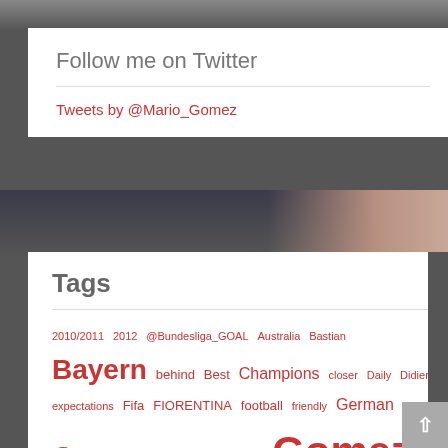Follow me on Twitter
Tweets by @Mario_Gomez
Tags
2010/2011 2012 @Bundesliga_GOAL Australia Bastian Bayern behind Best Champions closer Daily Didier expectations Fifa FIORENTINA football friendly German Germany goal Goals Gomez having Here's http//bit.ly/ehF52n Inter lagging League life. look Mario Mario Gomez Milan Munich München Newcastle online Schweinsteiger ... Stuttgart ... Team Top